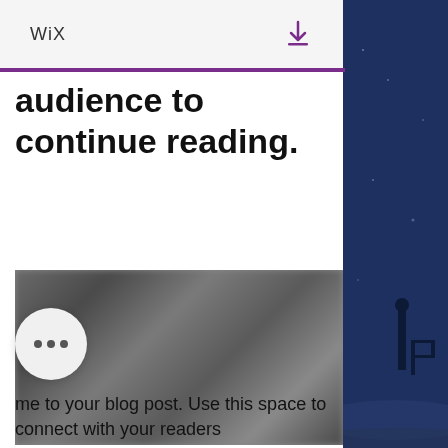WiX
audience to continue reading.
[Figure (photo): Blurred indoor scene, dark tones, appears to show a room or workspace]
me to your blog post. Use this space to connect with your readers